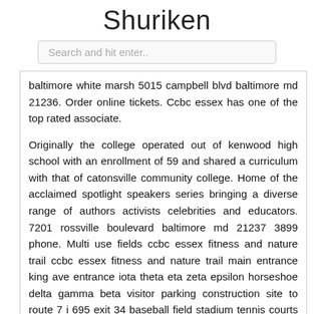Shuriken
Search and hit enter..
baltimore white marsh 5015 campbell blvd baltimore md 21236. Order online tickets. Ccbc essex has one of the top rated associate.
Originally the college operated out of kenwood high school with an enrollment of 59 and shared a curriculum with that of catonsville community college. Home of the acclaimed spotlight speakers series bringing a diverse range of authors activists celebrities and educators. 7201 rossville boulevard baltimore md 21237 3899 phone. Multi use fields ccbc essex fitness and nature trail ccbc essex fitness and nature trail main entrance king ave entrance iota theta eta zeta epsilon horseshoe delta gamma beta visitor parking construction site to route 7 i 695 exit 34 baseball field stadium tennis courts alpha ccbc essex administration building admn center for adjunct faculty engagement honors program lecture hall office of campus director office of instruction office of the president school of health